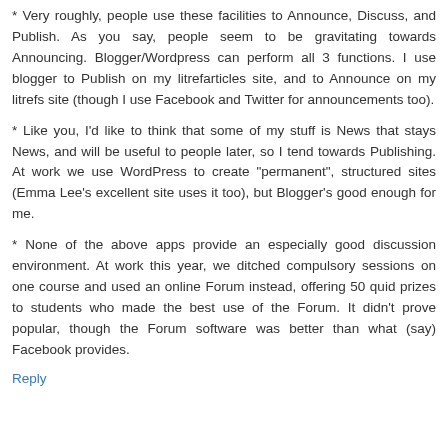* Very roughly, people use these facilities to Announce, Discuss, and Publish. As you say, people seem to be gravitating towards Announcing. Blogger/Wordpress can perform all 3 functions. I use blogger to Publish on my litrefarticles site, and to Announce on my litrefs site (though I use Facebook and Twitter for announcements too).
* Like you, I'd like to think that some of my stuff is News that stays News, and will be useful to people later, so I tend towards Publishing. At work we use WordPress to create "permanent", structured sites (Emma Lee's excellent site uses it too), but Blogger's good enough for me.
* None of the above apps provide an especially good discussion environment. At work this year, we ditched compulsory sessions on one course and used an online Forum instead, offering 50 quid prizes to students who made the best use of the Forum. It didn't prove popular, though the Forum software was better than what (say) Facebook provides.
Reply